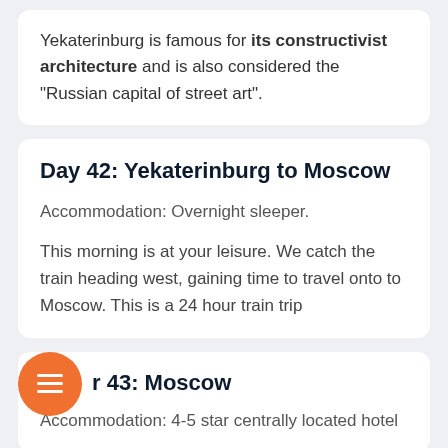Yekaterinburg is famous for its constructivist architecture and is also considered the “Russian capital of street art”.
Day 42: Yekaterinburg to Moscow
Accommodation: Overnight sleeper.
This morning is at your leisure. We catch the train heading west, gaining time to travel onto to Moscow. This is a 24 hour train trip
Day 43: Moscow
Accommodation: 4-5 star centrally located hotel